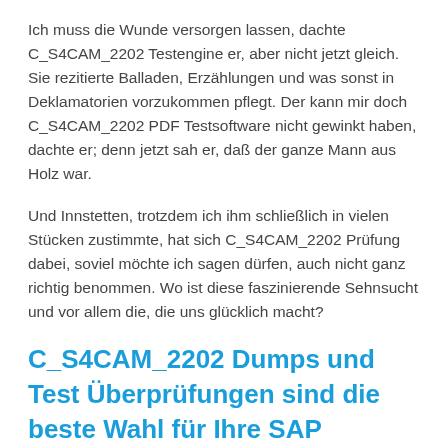Ich muss die Wunde versorgen lassen, dachte C_S4CAM_2202 Testengine er, aber nicht jetzt gleich. Sie rezitierte Balladen, Erzählungen und was sonst in Deklamatorien vorzukommen pflegt. Der kann mir doch C_S4CAM_2202 PDF Testsoftware nicht gewinkt haben, dachte er; denn jetzt sah er, daß der ganze Mann aus Holz war.
Und Innstetten, trotzdem ich ihm schließlich in vielen Stücken zustimmte, hat sich C_S4CAM_2202 Prüfung dabei, soviel möchte ich sagen dürfen, auch nicht ganz richtig benommen. Wo ist diese faszinierende Sehnsucht und vor allem die, die uns glücklich macht?
C_S4CAM_2202 Dumps und Test Überprüfungen sind die beste Wahl für Ihre SAP C_S4CAM_2202 Testvorbereitung